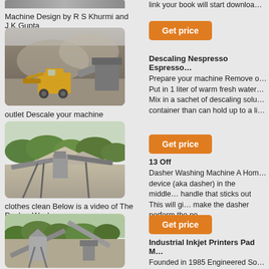[Figure (photo): Partial top of a construction/mining photo (cropped)]
link your book will start downloa…
Machine Design by R S Khurmi and J K Gupta
[Figure (photo): Mining site with yellow front loader and rock crusher]
Get price
Descaling Nespresso Espresso…
Prepare your machine Remove o…
Put in 1 liter of warm fresh water…
Mix in a sachet of descaling solu… container than can hold up to a li…
outlet Descale your machine
[Figure (photo): Open-pit mining site with conveyor belts and industrial equipment]
Get price
13 Off
Dasher Washing Machine A Hom… device (aka dasher) in the middle… handle that sticks out This will gi… make the dasher perform the ne…
clothes clean Below is a video of The Dasher Washer
[Figure (photo): Mining/quarry site with conveyor belts and silos]
Get price
Industrial Inkjet Printers Pad M…
Founded in 1985 Engineered So… industrial inkjet printers and…